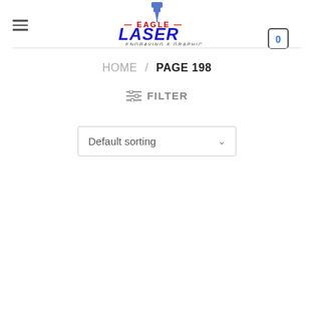[Figure (logo): Eagle Laser Engraving & Graphics logo with blue laser nozzle icon, red 'EAGLE' text, blue 'LASER' text, and 'ENGRAVING & GRAPHICS' subtitle]
HOME / PAGE 198
≡ FILTER
Default sorting